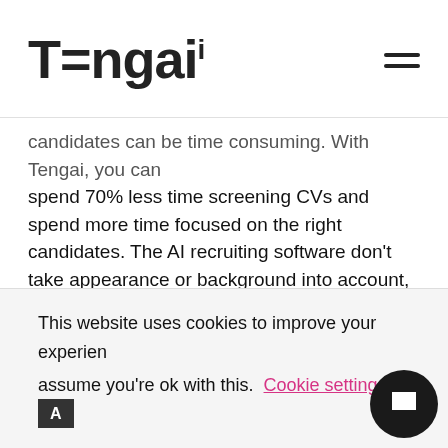Tengai
candidates can be time consuming. With Tengai, you can spend 70% less time screening CVs and spend more time focused on the right candidates. The AI recruiting software don't take appearance or background into account, you can find talents faster and identify the right people with the right competencies. Let Tengai handle the heavy lifting and use our custom evaluation to add any interview questions and set the personality traits that you find valuable for the role you're hiring for.
This website uses cookies to improve your experience and assume you're ok with this. Cookie settings